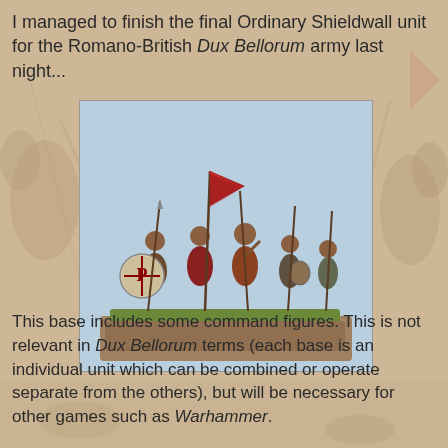I managed to finish the final Ordinary Shieldwall unit for the Romano-British Dux Bellorum army last night...
[Figure (photo): Painted miniature figurines of Romano-British warriors on a diorama base with grass and gravel texture. The figures carry spears and shields, with one bearing a red banner/standard. The shields show a Chi-Rho symbol.]
This base includes some command figures. This is not relevant in Dux Bellorum terms (each base is an individual unit which can be combined or operate separate from the others), but will be necessary for other games such as Warhammer.